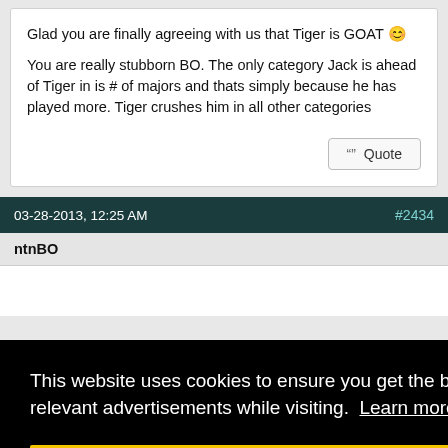Glad you are finally agreeing with us that Tiger is GOAT 😊
You are really stubborn BO. The only category Jack is ahead of Tiger in is # of majors and thats simply because he has played more. Tiger crushes him in all other categories
Quote
03-28-2013, 12:25 AM
#2434
ntnBO
This website uses cookies to ensure you get the best experience and relevant advertisements while visiting. Learn more
Got it!
through an entire career, he'll render any and all debates